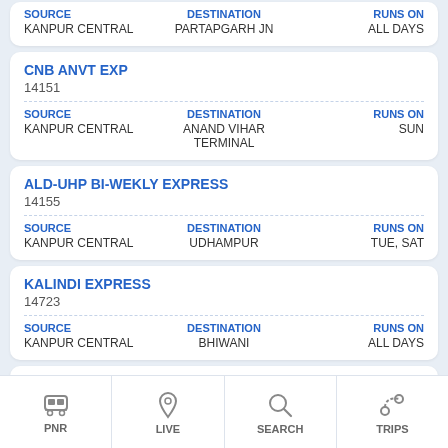| SOURCE | DESTINATION | RUNS ON |
| --- | --- | --- |
| KANPUR CENTRAL | PARTAPGARH JN | ALL DAYS |
| Train Name | Train Number |
| --- | --- |
| CNB ANVT EXP | 14151 |
| SOURCE | DESTINATION | RUNS ON |
| --- | --- | --- |
| KANPUR CENTRAL | ANAND VIHAR TERMINAL | SUN |
| Train Name | Train Number |
| --- | --- |
| ALD-UHP BI-WEKLY EXPRESS | 14155 |
| SOURCE | DESTINATION | RUNS ON |
| --- | --- | --- |
| KANPUR CENTRAL | UDHAMPUR | TUE, SAT |
| Train Name | Train Number |
| --- | --- |
| KALINDI EXPRESS | 14723 |
| SOURCE | DESTINATION | RUNS ON |
| --- | --- | --- |
| KANPUR CENTRAL | BHIWANI | ALL DAYS |
BETU EXPRESS / 18203
PNR | LIVE | SEARCH | TRIPS